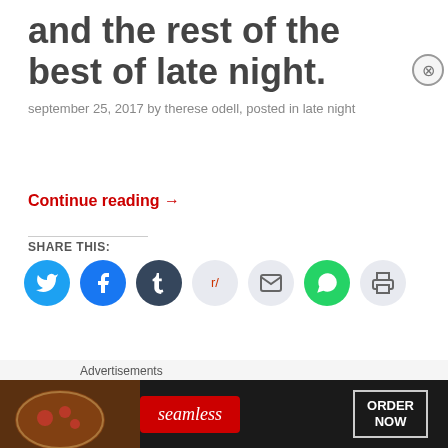and the rest of the best of late night.
september 25, 2017 by therese odell, posted in late night
Continue reading →
SHARE THIS:
[Figure (illustration): Social sharing icons row: Twitter (blue), Facebook (blue), Tumblr (dark), Reddit (light), Email (light), WhatsApp (green), Print (light)]
LIKE THIS:
Loading…
[Figure (illustration): Seamless food delivery advertisement banner with pizza image on left, Seamless red logo in center, and ORDER NOW button on right]
Advertisements